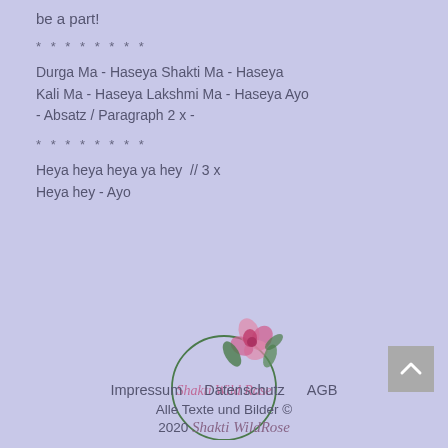be a part!
* * * * * * * *
Durga Ma - Haseya Shakti Ma - Haseya
Kali Ma - Haseya Lakshmi Ma - Haseya Ayo
- Absatz / Paragraph 2 x -
* * * * * * * *
Heya heya heya ya hey  // 3 x
Heya hey - Ayo
[Figure (logo): Shakti Wild Rose logo — circular green branch border with pink rose, script text 'Shakti Wild Rose' inside]
Impressum   Datenschutz   AGB
Alle Texte und Bilder ©
2020 Shakti WildRose